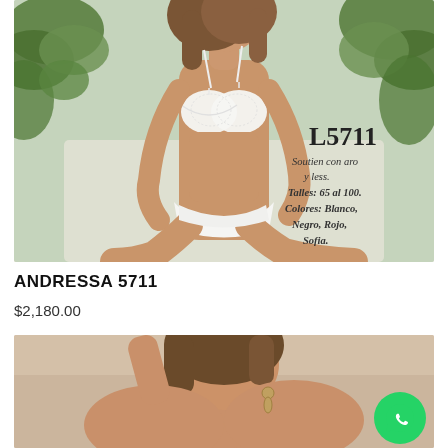[Figure (photo): Fashion product photo of a model wearing white lace lingerie (bra and underwear) in a natural setting with green plants in background. Overlay text shows product code L5711 with description: Soutien con aro y less. Talles: 65 al 100. Colores: Blanco, Negro, Rojo, Sofia.]
ANDRESSA 5711
$2,180.00
[Figure (photo): Partial product photo showing model from shoulders up, partially cropped at bottom of page. WhatsApp contact button visible in bottom right corner.]